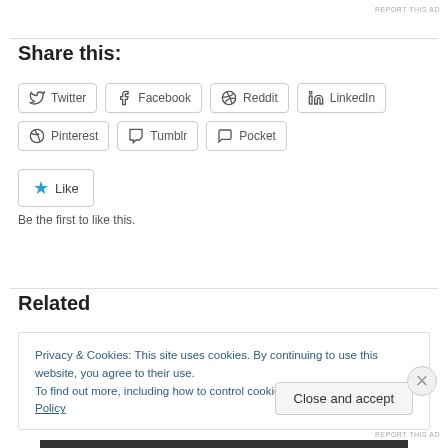REPORT THIS AD
Share this:
Twitter
Facebook
Reddit
LinkedIn
Pinterest
Tumblr
Pocket
Like
Be the first to like this.
Related
Privacy & Cookies: This site uses cookies. By continuing to use this website, you agree to their use.
To find out more, including how to control cookies, see here: Cookie Policy
Close and accept